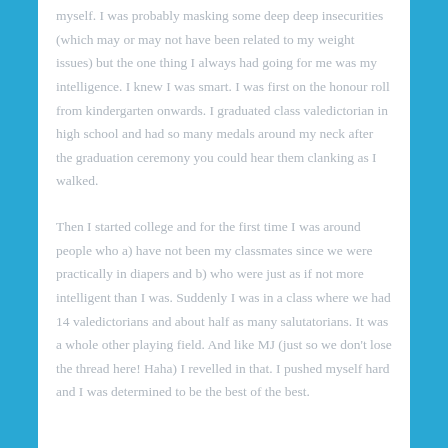myself. I was probably masking some deep deep insecurities (which may or may not have been related to my weight issues) but the one thing I always had going for me was my intelligence. I knew I was smart. I was first on the honour roll from kindergarten onwards. I graduated class valedictorian in high school and had so many medals around my neck after the graduation ceremony you could hear them clanking as I walked.
Then I started college and for the first time I was around people who a) have not been my classmates since we were practically in diapers and b) who were just as if not more intelligent than I was. Suddenly I was in a class where we had 14 valedictorians and about half as many salutatorians. It was a whole other playing field. And like MJ (just so we don't lose the thread here! Haha) I revelled in that. I pushed myself hard and I was determined to be the best of the best.